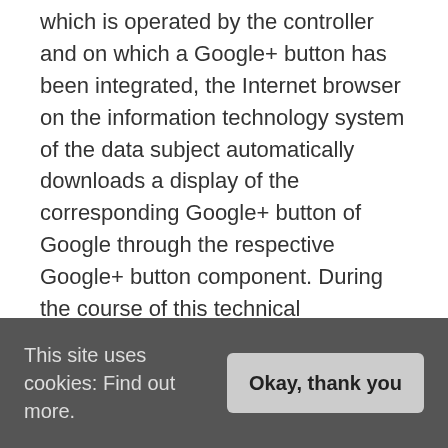which is operated by the controller and on which a Google+ button has been integrated, the Internet browser on the information technology system of the data subject automatically downloads a display of the corresponding Google+ button of Google through the respective Google+ button component. During the course of this technical procedure, Google is made aware of what specific sub-page of our website was visited by the data subject. More detailed information
This site uses cookies: Find out more.
Okay, thank you